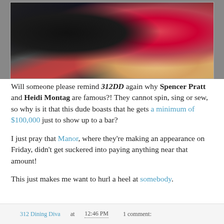[Figure (photo): A man in a dark pinstripe suit with a blue tie standing next to a blonde woman in a red dress, posed together at what appears to be an event.]
Will someone please remind 312DD again why Spencer Pratt and Heidi Montag are famous?! They cannot spin, sing or sew, so why is it that this dude boasts that he gets a minimum of $100,000 just to show up to a bar?
I just pray that Manor, where they're making an appearance on Friday, didn't get suckered into paying anything near that amount!
This just makes me want to hurl a heel at somebody.
312 Dining Diva at 12:46 PM   1 comment: